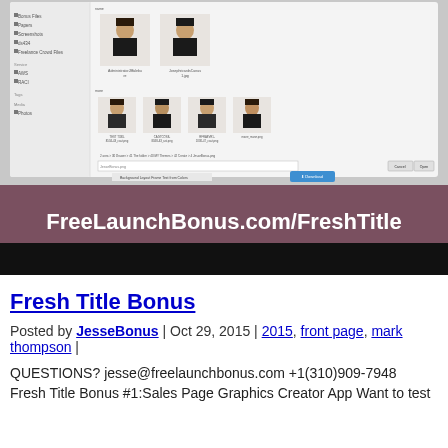[Figure (screenshot): A file browser/open dialog screenshot showing headshot images of people, with a sidebar showing folders like Bonus Files, Papers, Screenshots, etc., and a main area showing thumbnail images of people in professional attire with filenames below.]
[Figure (infographic): A promotional banner with dark mauve/purple background displaying the text 'FreeLaunchBonus.com/FreshTitle' in white bold font, with a black bar below it.]
Fresh Title Bonus
Posted by JesseBonus | Oct 29, 2015 | 2015, front page, mark thompson |
QUESTIONS? jesse@freelaunchbonus.com +1(310)909-7948
Fresh Title Bonus #1:Sales Page Graphics Creator App Want to test